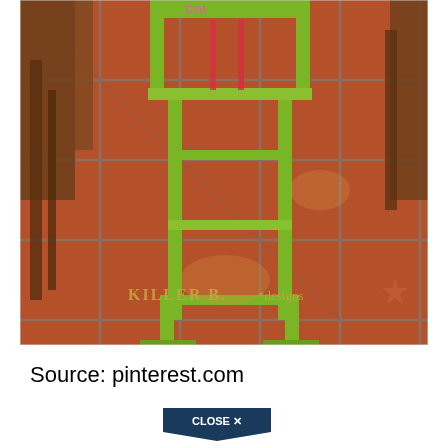[Figure (photo): A lime green painted wooden baby high chair photographed on terracotta tile floor. The chair has a seat at the top and a stepped frame structure below, with pink text partially visible at the top. A watermark reads 'KILLER B.*designs' with a star icon in the lower right area of the photo.]
Source: pinterest.com
[Figure (other): A dark blue 'CLOSE X' button at the bottom of the page]